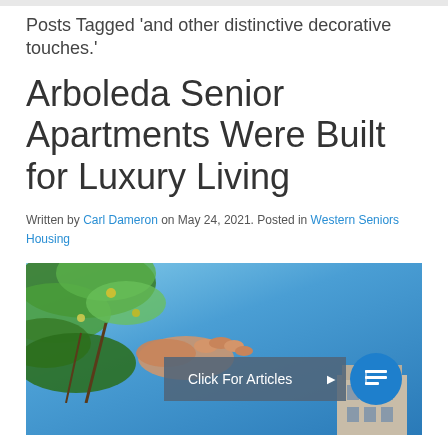Posts Tagged 'and other distinctive decorative touches.'
Arboleda Senior Apartments Were Built for Luxury Living
Written by Carl Dameron on May 24, 2021. Posted in Western Seniors Housing
[Figure (photo): Outdoor photo showing tropical foliage, a person's hand, blue sky, and a building in the background with a 'Click For Articles' call-to-action button overlay]